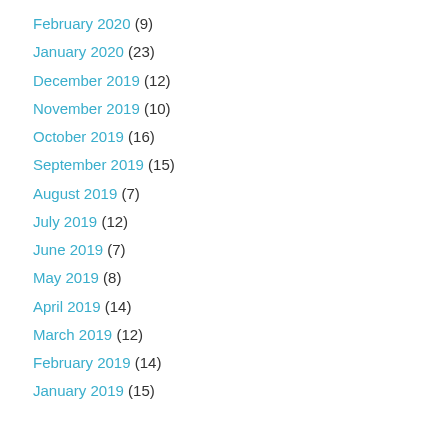February 2020 (9)
January 2020 (23)
December 2019 (12)
November 2019 (10)
October 2019 (16)
September 2019 (15)
August 2019 (7)
July 2019 (12)
June 2019 (7)
May 2019 (8)
April 2019 (14)
March 2019 (12)
February 2019 (14)
January 2019 (15)